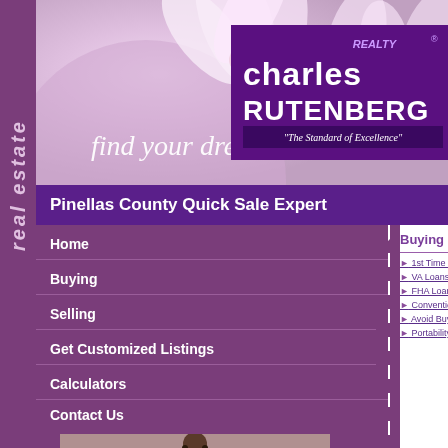[Figure (photo): Floral banner with pink/purple flowers and 'find your dream' italic text overlay, Charles Rutenberg Realty logo box at top right]
Pinellas County Quick Sale Expert
Buying Links
1st Time Home Buyers
VA Loans
FHA Loan Information
Conventional Loans
Avoid Buyer Errors
Portability
Our Home Bu
I take the buying do, therefore I off service to my clie your home, make can trust and son business. Buying important purcha have the right ag experience and t
Here are some
Determine Your This is the single series of questio for. My goal is to
Home
Buying
Selling
Get Customized Listings
Calculators
Contact Us
[Figure (photo): Photo of a woman with dark curly hair wearing glasses and a dark top, smiling]